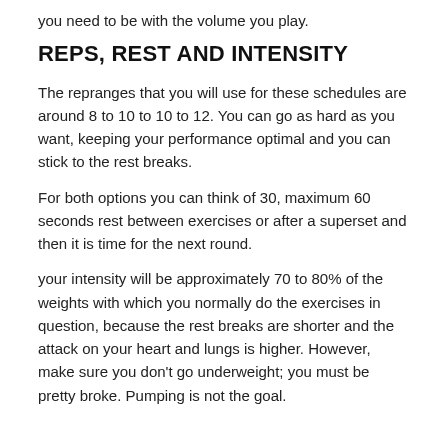you need to be with the volume you play.
REPS, REST AND INTENSITY
The repranges that you will use for these schedules are around 8 to 10 to 10 to 12. You can go as hard as you want, keeping your performance optimal and you can stick to the rest breaks.
For both options you can think of 30, maximum 60 seconds rest between exercises or after a superset and then it is time for the next round.
your intensity will be approximately 70 to 80% of the weights with which you normally do the exercises in question, because the rest breaks are shorter and the attack on your heart and lungs is higher. However, make sure you don't go underweight; you must be pretty broke. Pumping is not the goal.